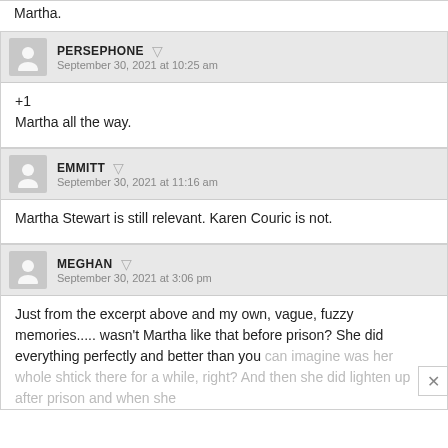Martha.
PERSEPHONE
September 30, 2021 at 10:25 am
+1
Martha all the way.
EMMITT
September 30, 2021 at 11:16 am
Martha Stewart is still relevant. Karen Couric is not.
MEGHAN
September 30, 2021 at 3:06 pm
Just from the excerpt above and my own, vague, fuzzy memories..... wasn't Martha like that before prison? She did everything perfectly and better than you can imagine was her whole shtick there for a while, right? And then she did lighten up after prison and when she